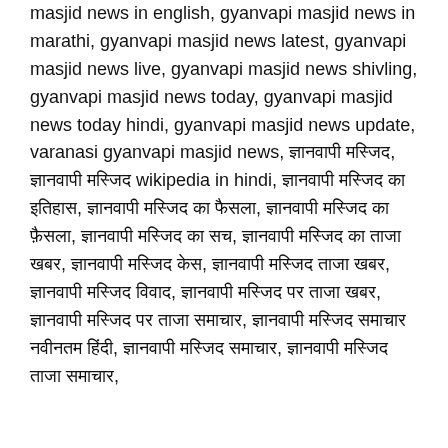masjid news in english, gyanvapi masjid news in marathi, gyanvapi masjid news latest, gyanvapi masjid news live, gyanvapi masjid news shivling, gyanvapi masjid news today, gyanvapi masjid news today hindi, gyanvapi masjid news update, varanasi gyanvapi masjid news, ज्ञानवापी मस्जिद, ज्ञानवापी मस्जिद wikipedia in hindi, ज्ञानवापी मस्जिद का इतिहास, ज्ञानवापी मस्जिद का फैसला, ज्ञानवापी मस्जिद का फ़ैसला, ज्ञानवापी मस्जिद का सच, ज्ञानवापी मस्जिद का ताजा खबर, ज्ञानवापी मस्जिद केस, ज्ञानवापी मस्जिद ताजा खबर, ज्ञानवापी मस्जिद विवाद, ज्ञानवापी मस्जिद पर ताजा खबर, ज्ञानवापी मस्जिद पर ताजा समाचार, ज्ञानवापी मस्जिद समाचार नवीनतम हिंदी, ज्ञानवापी मस्जिद समाचार, ज्ञानवापी मस्जिद ताजा समाचार,